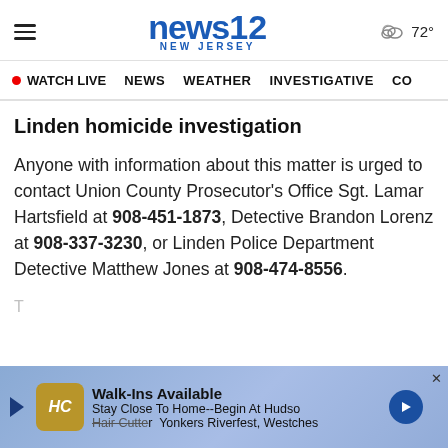news12 NEW JERSEY  72°
WATCH LIVE  NEWS  WEATHER  INVESTIGATIVE  CO...
Linden homicide investigation
Anyone with information about this matter is urged to contact Union County Prosecutor's Office Sgt. Lamar Hartsfield at 908-451-1873, Detective Brandon Lorenz at 908-337-3230, or Linden Police Department Detective Matthew Jones at 908-474-8556.
T...
[Figure (other): Advertisement banner: Walk-Ins Available, Stay Close To Home--Begin At Hudso, Yonkers Riverfest, Westches]